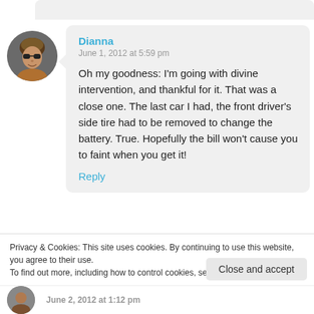[Figure (photo): Circular avatar photo of a woman with short hair and sunglasses]
Dianna
June 1, 2012 at 5:59 pm
Oh my goodness: I’m going with divine intervention, and thankful for it. That was a close one. The last car I had, the front driver’s side tire had to be removed to change the battery. True. Hopefully the bill won’t cause you to faint when you get it!
Reply
Privacy & Cookies: This site uses cookies. By continuing to use this website, you agree to their use.
To find out more, including how to control cookies, see here: Cookie Policy
Close and accept
June 2, 2012 at 1:12 pm